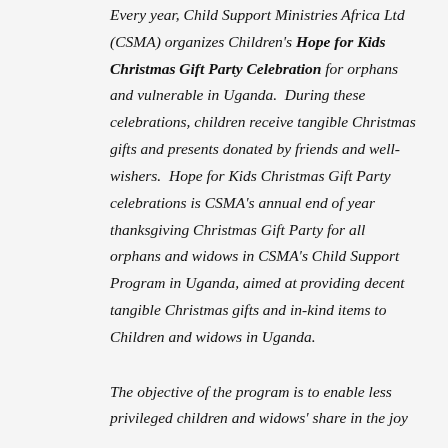Every year, Child Support Ministries Africa Ltd (CSMA) organizes Children's Hope for Kids Christmas Gift Party Celebration for orphans and vulnerable in Uganda.  During these celebrations, children receive tangible Christmas gifts and presents donated by friends and well-wishers.  Hope for Kids Christmas Gift Party celebrations is CSMA's annual end of year thanksgiving Christmas Gift Party for all orphans and widows in CSMA's Child Support Program in Uganda, aimed at providing decent tangible Christmas gifts and in-kind items to Children and widows in Uganda.
The objective of the program is to enable less privileged children and widows' share in the joy